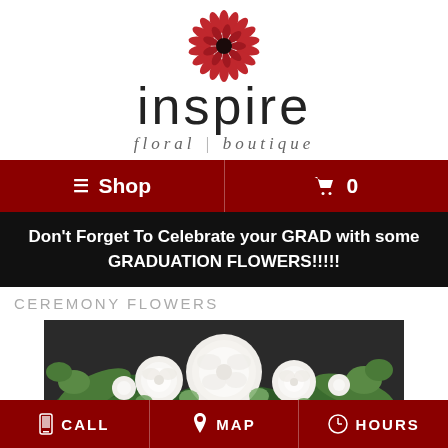[Figure (logo): Inspire Floral Boutique logo with red chrysanthemum flower graphic above the word 'inspire' in large light font and 'floral | boutique' in italic script below]
≡ Shop   🛒 0
Don't Forget To Celebrate your GRAD with some GRADUATION FLOWERS!!!!!
CEREMONY FLOWERS
[Figure (photo): Photo of white floral arrangement with green foliage on dark background]
📱 CALL   📍 MAP   🕐 HOURS